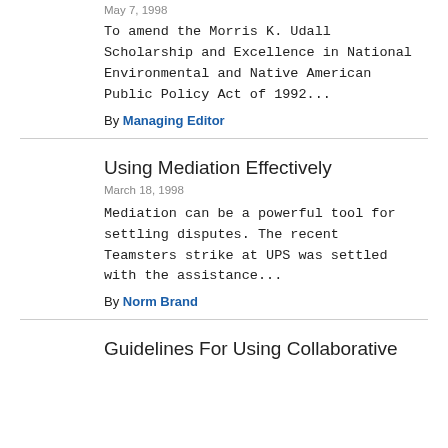May 7, 1998
To amend the Morris K. Udall Scholarship and Excellence in National Environmental and Native American Public Policy Act of 1992...
By Managing Editor
Using Mediation Effectively
March 18, 1998
Mediation can be a powerful tool for settling disputes. The recent Teamsters strike at UPS was settled with the assistance...
By Norm Brand
Guidelines For Using Collaborative